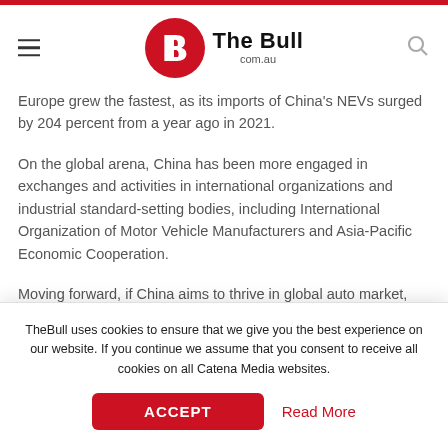The Bull com.au
Europe grew the fastest, as its imports of China’s NEVs surged by 204 percent from a year ago in 2021.
On the global arena, China has been more engaged in exchanges and activities in international organizations and industrial standard-setting bodies, including International Organization of Motor Vehicle Manufacturers and Asia-Pacific Economic Cooperation.
Moving forward, if China aims to thrive in global auto market, and has an initiative and a say in competition, it should develop
TheBull uses cookies to ensure that we give you the best experience on our website. If you continue we assume that you consent to receive all cookies on all Catena Media websites.